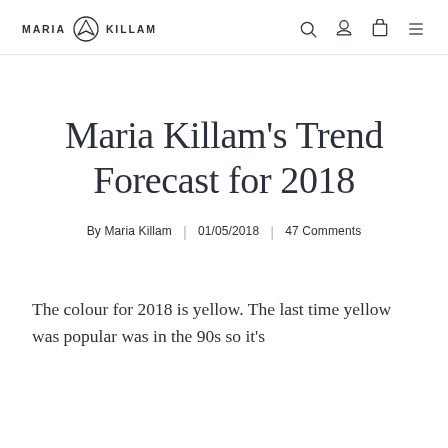MARIA KILLAM
Maria Killam's Trend Forecast for 2018
By Maria Killam | 01/05/2018 | 47 Comments
The colour for 2018 is yellow. The last time yellow was popular was in the 90s so it's